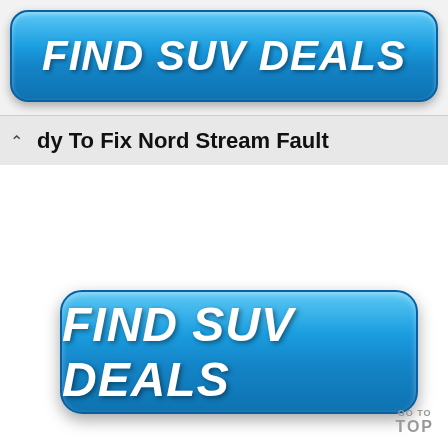[Figure (screenshot): Blue rounded button with white bold italic text reading FIND SUV DEALS at the top of the page]
dy To Fix Nord Stream Fault
[Figure (screenshot): Blue rounded button with white bold italic text reading FIND SUV DEALS in the lower portion of the page]
GO TO TOP